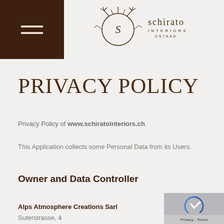[Figure (logo): Schirato Interiors Gstaad logo with antler/branch emblem and brand name]
PRIVACY POLICY
Privacy Policy of www.schiratointeriors.ch
This Application collects some Personal Data from its Users.
Owner and Data Controller
Alps Atmosphere Creations Sarl
Suterstrasse, 4